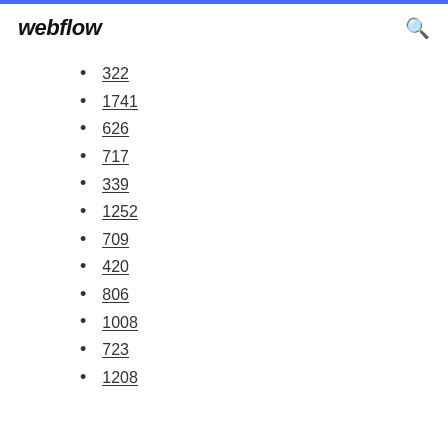webflow
322
1741
626
717
339
1252
709
420
806
1008
723
1208